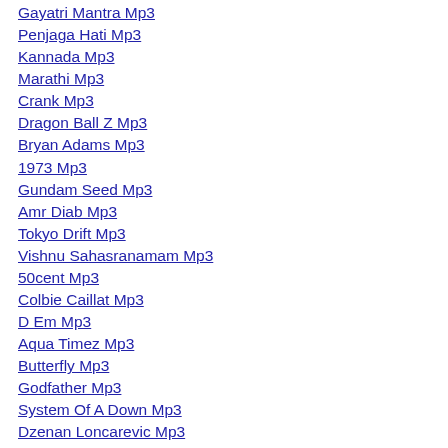Gayatri Mantra Mp3
Penjaga Hati Mp3
Kannada Mp3
Marathi Mp3
Crank Mp3
Dragon Ball Z Mp3
Bryan Adams Mp3
1973 Mp3
Gundam Seed Mp3
Amr Diab Mp3
Tokyo Drift Mp3
Vishnu Sahasranamam Mp3
50cent Mp3
Colbie Caillat Mp3
D Em Mp3
Aqua Timez Mp3
Butterfly Mp3
Godfather Mp3
System Of A Down Mp3
Dzenan Loncarevic Mp3
Driving With The Brakes On Mp3
Rihana Mp3
Vatrogasci Mp3
Sean Kingston Mp3
Pink Mp3